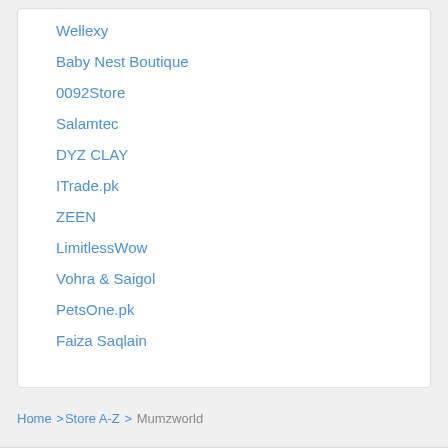Wellexy
Baby Nest Boutique
0092Store
Salamtec
DYZ CLAY
ITrade.pk
ZEEN
LimitlessWow
Vohra & Saigol
PetsOne.pk
Faiza Saqlain
Home > Store A-Z > Mumzworld